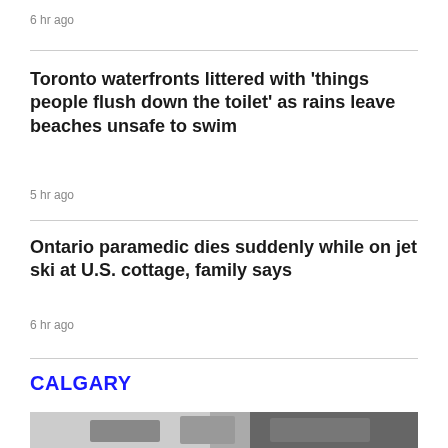6 hr ago
Toronto waterfronts littered with 'things people flush down the toilet' as rains leave beaches unsafe to swim
5 hr ago
Ontario paramedic dies suddenly while on jet ski at U.S. cottage, family says
6 hr ago
CALGARY
[Figure (photo): Outdoor parking lot with white cars visible, blurred background]